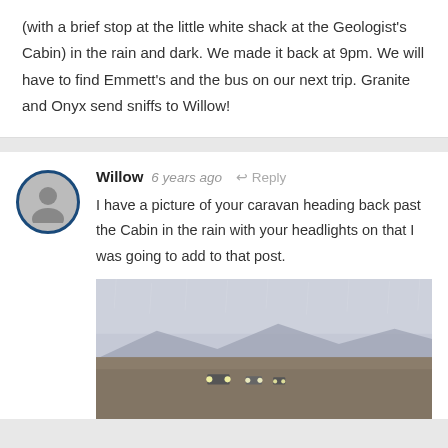(with a brief stop at the little white shack at the Geologist's Cabin) in the rain and dark. We made it back at 9pm. We will have to find Emmett's and the bus on our next trip. Granite and Onyx send sniffs to Willow!
Willow  6 years ago  Reply
I have a picture of your caravan heading back past the Cabin in the rain with your headlights on that I was going to add to that post.
[Figure (photo): A dark, rainy outdoor scene showing a desert or open landscape with vehicles/headlights visible in the distance and mountains in the background under overcast skies.]